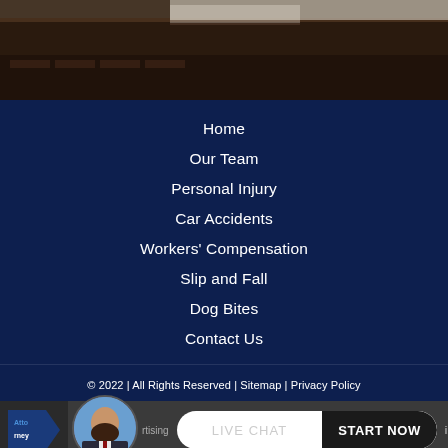[Figure (photo): Dark photograph of a building exterior, partially visible at top of page]
Home
Our Team
Personal Injury
Car Accidents
Workers' Compensation
Slip and Fall
Dog Bites
Contact Us
© 2022 | All Rights Reserved | Sitemap | Privacy Policy
Atto … ising … ible for  LIVE CHAT  START NOW